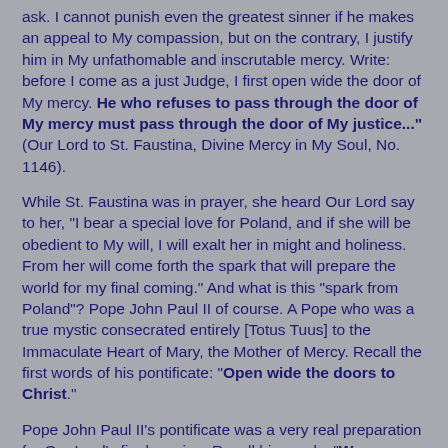ask. I cannot punish even the greatest sinner if he makes an appeal to My compassion, but on the contrary, I justify him in My unfathomable and inscrutable mercy. Write: before I come as a just Judge, I first open wide the door of My mercy. He who refuses to pass through the door of My mercy must pass through the door of My justice..." (Our Lord to St. Faustina, Divine Mercy in My Soul, No. 1146).
While St. Faustina was in prayer, she heard Our Lord say to her, "I bear a special love for Poland, and if she will be obedient to My will, I will exalt her in might and holiness. From her will come forth the spark that will prepare the world for my final coming." And what is this "spark from Poland"? Pope John Paul II of course. A Pope who was a true mystic consecrated entirely [Totus Tuus] to the Immaculate Heart of Mary, the Mother of Mercy. Recall the first words of his pontificate: "Open wide the doors to Christ."
Pope John Paul II's pontificate was a very real preparation for Our Lord's final coming. Recall his words, "We are now facing the final confrontation between the Church and the anti-Church, of the Gospel and the anti-Gospel... It is